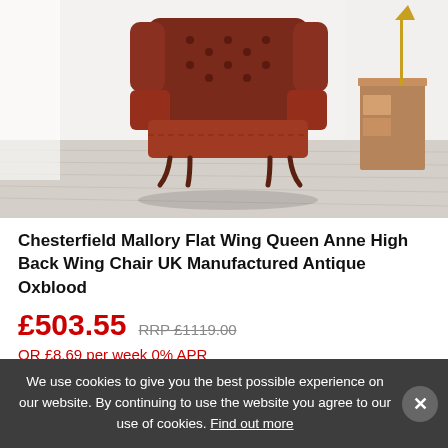[Figure (photo): A brown/oxblood leather Chesterfield wingback armchair with button tufting, photographed in a bright room with light wood flooring, white curtains, and a wooden side table with a gold lamp in the background.]
Chesterfield Mallory Flat Wing Queen Anne High Back Wing Chair UK Manufactured Antique Oxblood
£503.55  RRP £1119.00
OR £8.69 per week 0% APR
★★★★★ 1 review
We use cookies to give you the best possible experience on our website. By continuing to use the website you agree to our use of cookies. Find out more